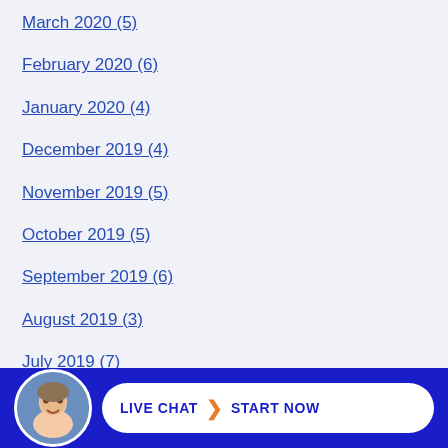March 2020 (5)
February 2020 (6)
January 2020 (4)
December 2019 (4)
November 2019 (5)
October 2019 (5)
September 2019 (6)
August 2019 (3)
July 2019 (7)
June 2019 (2)
May 2019 (2)
LIVE CHAT | START NOW